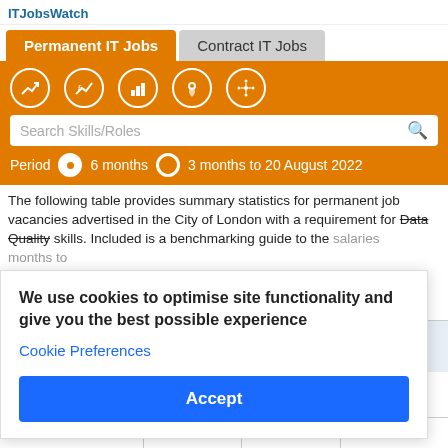ITJobsWatch
Permanent IT Jobs | Contract IT Jobs
[Figure (screenshot): Orange navigation toolbar with 5 icon buttons (trend, salary, bar chart, location, network), a search box labeled 'Search Skills/Roles', and a period selector showing '6 months' selected and '3 months to 20 August 2022']
The following table provides summary statistics for permanent job vacancies advertised in the City of London with a requirement for Data Quality skills. Included is a benchmarking guide to the salaries months to previous
We use cookies to optimise site functionality and give you the best possible experience
Cookie Preferences
Accept
Same period 2020
| Rank |  | 120 | 137 | 185 |
| --- | --- | --- | --- | --- |
| Rank |  | 120 | 137 | 185 |